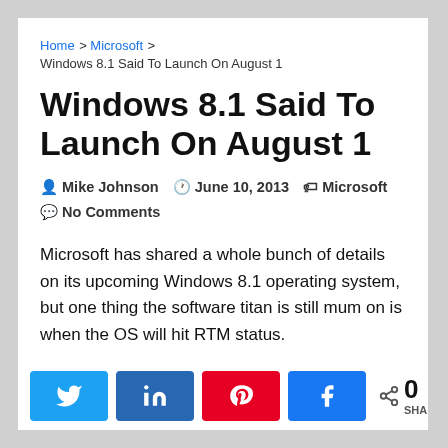Home > Microsoft > Windows 8.1 Said To Launch On August 1
Windows 8.1 Said To Launch On August 1
Mike Johnson  June 10, 2013  Microsoft  No Comments
Microsoft has shared a whole bunch of details on its upcoming Windows 8.1 operating system, but one thing the software titan is still mum on is when the OS will hit RTM status.
Owing to this silence, users have, nevertheless
0 SHARES